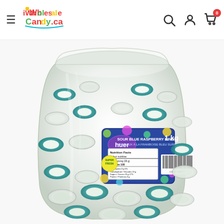iWholesaleCandy.ca navigation header with logo, search, account, and cart icons
[Figure (photo): A 1kg bag of Huer Sour Blue Raspberry Rings candy. The clear bag contains blue and white swirled sour ring gummies coated in sugar. A colorful label with polka dots and the Huer brand name is visible on the front of the bag, showing nutrition facts and a barcode.]